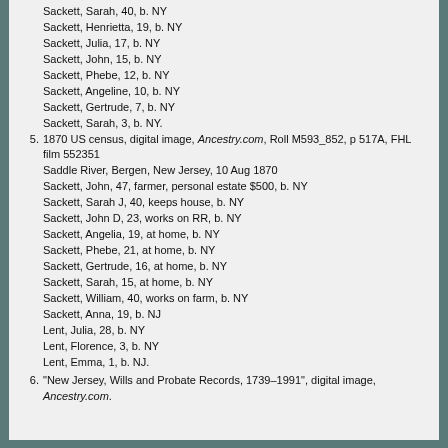Sackett, Sarah, 40, b. NY
Sackett, Henrietta, 19, b. NY
Sackett, Julia, 17, b. NY
Sackett, John, 15, b. NY
Sackett, Phebe, 12, b. NY
Sackett, Angeline, 10, b. NY
Sackett, Gertrude, 7, b. NY
Sackett, Sarah, 3, b. NY.
5. 1870 US census, digital image, Ancestry.com, Roll M593_852, p 517A, FHL film 552351
Saddle River, Bergen, New Jersey, 10 Aug 1870
Sackett, John, 47, farmer, personal estate $500, b. NY
Sackett, Sarah J, 40, keeps house, b. NY
Sackett, John D, 23, works on RR, b. NY
Sackett, Angelia, 19, at home, b. NY
Sackett, Phebe, 21, at home, b. NY
Sackett, Gertrude, 16, at home, b. NY
Sackett, Sarah, 15, at home, b. NY
Sackett, William, 40, works on farm, b. NY
Sackett, Anna, 19, b. NJ
Lent, Julia, 28, b. NY
Lent, Florence, 3, b. NY
Lent, Emma, 1, b. NJ.
6. "New Jersey, Wills and Probate Records, 1739–1991", digital image, Ancestry.com.